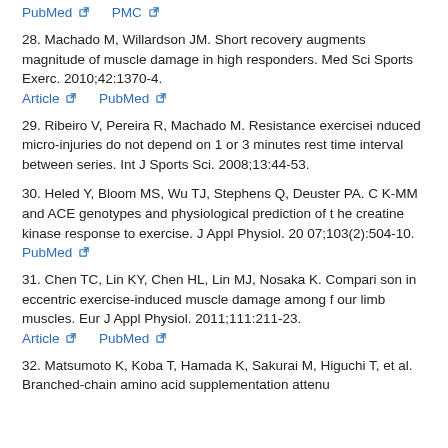PubMed  PMC  (links at top)
28. Machado M, Willardson JM. Short recovery augments magnitude of muscle damage in high responders. Med Sci Sports Exerc. 2010;42:1370-4.
Article  PubMed
29. Ribeiro V, Pereira R, Machado M. Resistance exercise induced micro-injuries do not depend on 1 or 3 minutes rest time interval between series. Int J Sports Sci. 2008;13:44-53.
30. Heled Y, Bloom MS, Wu TJ, Stephens Q, Deuster PA. CK-MM and ACE genotypes and physiological prediction of the creatine kinase response to exercise. J Appl Physiol. 2007;103(2):504-10.
PubMed
31. Chen TC, Lin KY, Chen HL, Lin MJ, Nosaka K. Comparison in eccentric exercise-induced muscle damage among four limb muscles. Eur J Appl Physiol. 2011;111:211-23.
Article  PubMed
32. Matsumoto K, Koba T, Hamada K, Sakurai M, Higuchi T, et al. Branched-chain amino acid supplementation attenu...